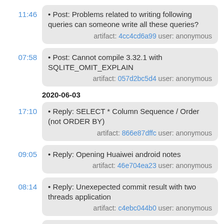11:46 • Post: Problems related to writing following queries can someone write all these queries? artifact: 4cc4cd6a99 user: anonymous
07:58 • Post: Cannot compile 3.32.1 with SQLITE_OMIT_EXPLAIN artifact: 057d2bc5d4 user: anonymous
2020-06-03
17:10 • Reply: SELECT * Column Sequence / Order (not ORDER BY) artifact: 866e87dffc user: anonymous
09:05 • Reply: Opening Huaiwei android notes artifact: 46e704ea23 user: anonymous
08:14 • Reply: Unexepected commit result with two threads application artifact: c4ebc044b0 user: anonymous
08:13 • Reply: Unexepected commit result with two threads application